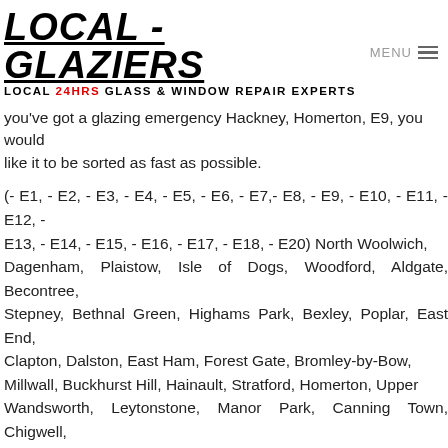LOCAL - GLAZIERS
LOCAL 24HRS GLASS & WINDOW REPAIR EXPERTS
you've got a glazing emergency Hackney, Homerton, E9, you would like it to be sorted as fast as possible.
(- E1, - E2, - E3, - E4, - E5, - E6, - E7, - E8, - E9, - E10, - E11, - E12, - E13, - E14, - E15, - E16, - E17, - E18, - E20) North Woolwich, Dagenham, Plaistow, Isle of Dogs, Woodford, Aldgate, Becontree, Stepney, Bethnal Green, Highams Park, Bexley, Poplar, East End, Clapton, Dalston, East Ham, Forest Gate, Bromley-by-Bow, Millwall, Buckhurst Hill, Hainault, Stratford, Homerton, Upper Wandsworth, Leytonstone, Manor Park, Canning Town, Chigwell, Barking, Redbridge, Bow, South Woodford, Bromley, Grange Hill, Hackney, Stamford Hill, Upton Park, Walthamstow, Leyton, West Ham, Chingford, Whitechapel, Woodford Green, Bishopsgate, Shoreditch, Spitalfields, Shadwell, Mile End, Portsoken, Brick Lane, Wapping, Haggerston, Cambridge Heath, Bow, Old Ford, Three Mills, Sewardstone, Upper Edmonton, Upper Clapton